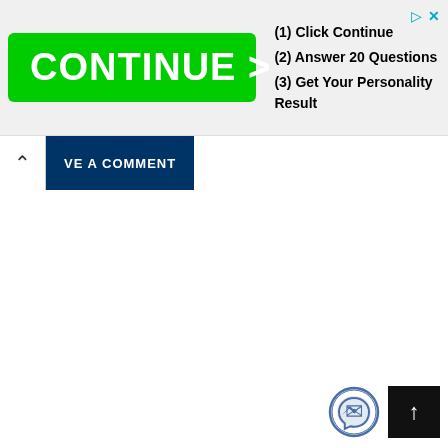[Figure (screenshot): Advertisement banner with green CONTINUE > button and steps: (1) Click Continue, (2) Answer 20 Questions, (3) Get Your Personality Result. Small play and X icons in top right corner.]
VE A COMMENT
[Figure (logo): Facebook Messenger circular logo button in bottom right area]
[Figure (other): Black scroll-to-top button with upward arrow]